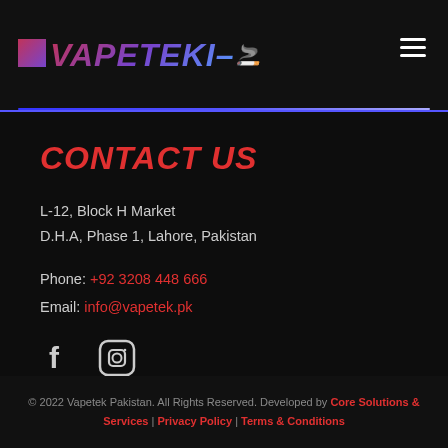VAPETEKI — logo and navigation
CONTACT US
L-12, Block H Market
D.H.A, Phase 1, Lahore, Pakistan
Phone: +92 3208 448 666
Email: info@vapetek.pk
[Figure (other): Social media icons: Facebook and Instagram]
© 2022 Vapetek Pakistan. All Rights Reserved. Developed by Core Solutions & Services | Privacy Policy | Terms & Conditions